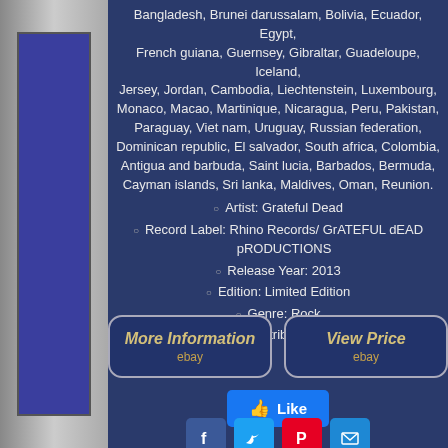Bangladesh, Brunei darussalam, Bolivia, Ecuador, Egypt, French guiana, Guernsey, Gibraltar, Guadeloupe, Iceland, Jersey, Jordan, Cambodia, Liechtenstein, Luxembourg, Monaco, Macao, Martinique, Nicaragua, Peru, Pakistan, Paraguay, Viet nam, Uruguay, Russian federation, Dominican republic, El salvador, South africa, Colombia, Antigua and barbuda, Saint lucia, Barbados, Bermuda, Cayman islands, Sri lanka, Maldives, Oman, Reunion.
Artist: Grateful Dead
Record Label: Rhino Records/ GrATEFUL dEAD pRODUCTIONS
Release Year: 2013
Edition: Limited Edition
Genre: Rock
Special Attributes: HDCD
[Figure (other): More Information eBay button]
[Figure (other): View Price eBay button]
[Figure (other): Facebook Like button]
[Figure (other): Social media share icons: Facebook, Twitter, Pinterest, Email]